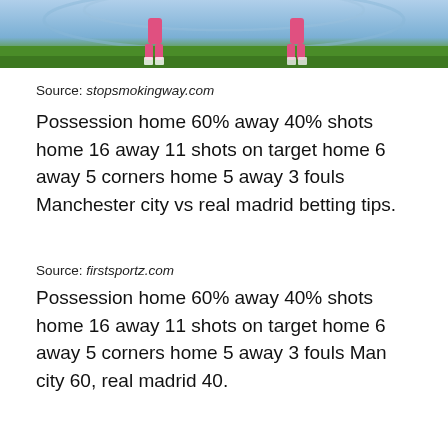[Figure (photo): Bottom portion of a photo showing two soccer players in pink/red jerseys standing on a green pitch in front of a light blue stadium backdrop.]
Source: stopsmokingway.com
Possession home 60% away 40% shots home 16 away 11 shots on target home 6 away 5 corners home 5 away 3 fouls Manchester city vs real madrid betting tips.
Source: firstsportz.com
Possession home 60% away 40% shots home 16 away 11 shots on target home 6 away 5 corners home 5 away 3 fouls Man city 60, real madrid 40.